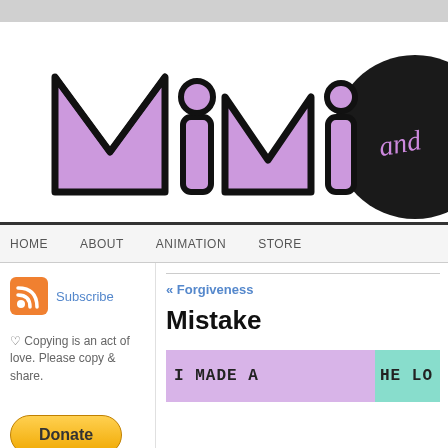[Figure (logo): Mimi and... webcomic logo with large purple graffiti-style letters 'Mimi' and a black circle containing the word 'and' in purple cursive script]
HOME   ABOUT   ANIMATION   STORE
[Figure (logo): RSS feed orange icon]
Subscribe
♡ Copying is an act of love. Please copy & share.
« Forgiveness
Mistake
[Figure (illustration): Partial view of a comic strip panel showing purple background with text 'I MADE A' on left and a teal/green panel with partial text 'HE LO' on right]
Donate